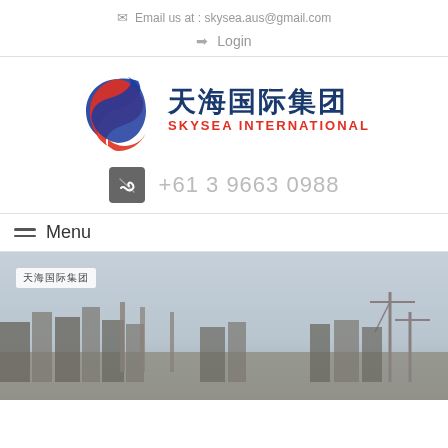Email us at : skysea.aus@gmail.com
Login
[Figure (logo): Skysea International logo with Chinese characters 天海国际集团 and red/blue swoosh emblem]
+61 3 9663 0988
Menu
[Figure (photo): Aerial cityscape photo showing industrial port or waterfront city with cranes and buildings under hazy sky]